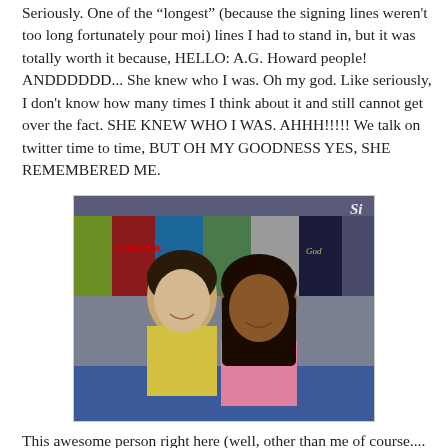Seriously. One of the "longest" (because the signing lines weren't too long fortunately pour moi) lines I had to stand in, but it was totally worth it because, HELLO: A.G. Howard people! ANDDDDDD... She knew who I was. Oh my god. Like seriously, I don't know how many times I think about it and still cannot get over the fact. SHE KNEW WHO I WAS. AHHH!!!!! We talk on twitter time to time, BUT OH MY GOODNESS YES, SHE REMEMBERED ME.
[Figure (photo): Two young women posing together at what appears to be a book convention or signing event. Behind them are various book covers including Daredevil and others. The woman on the left wears a yellow floral top, the woman on the right wears a pink top.]
This awesome person right here (well, other than me of course.... lol no) is HANNAH MOSKOVITZ! And guyssss! She KNOWS MY BLOG. I like had a total fanning-myself-saying-ohmygosh-